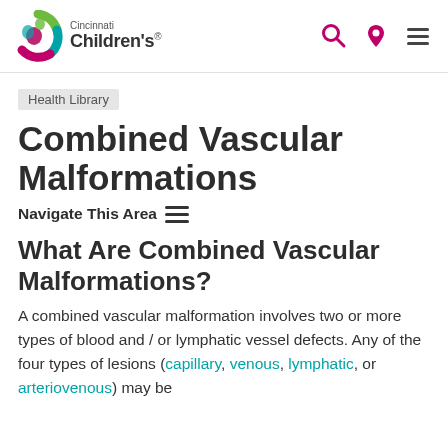Cincinnati Children's
Health Library
Combined Vascular Malformations
Navigate This Area
What Are Combined Vascular Malformations?
A combined vascular malformation involves two or more types of blood and / or lymphatic vessel defects. Any of the four types of lesions (capillary, venous, lymphatic, or arteriovenous) may be